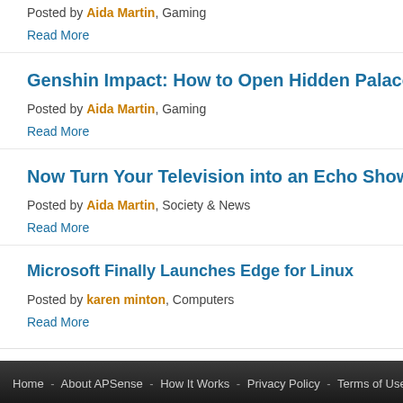Posted by Aida Martin, Gaming
Read More
Genshin Impact: How to Open Hidden Palace of the Guizang Form...
Posted by Aida Martin, Gaming
Read More
Now Turn Your Television into an Echo Show Smart Display with A...
Posted by Aida Martin, Society & News
Read More
Microsoft Finally Launches Edge for Linux
Posted by karen minton, Computers
Read More
Home - About APSense - How It Works - Privacy Policy - Terms of Use - Contact Us